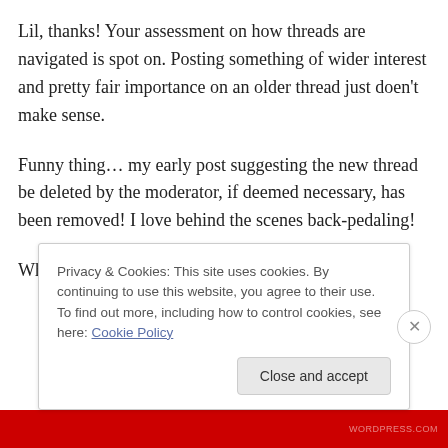Lil, thanks! Your assessment on how threads are navigated is spot on. Posting something of wider interest and pretty fair importance on an older thread just doen't make sense.
Funny thing… my early post suggesting the new thread be deleted by the moderator, if deemed necessary, has been removed! I love behind the scenes back-pedaling!
While I am not sure how long I am suspended
Privacy & Cookies: This site uses cookies. By continuing to use this website, you agree to their use.
To find out more, including how to control cookies, see here: Cookie Policy